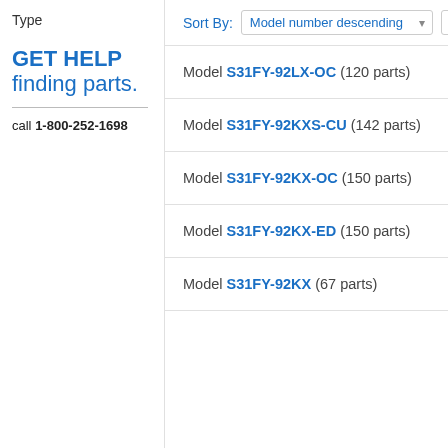Type
GET HELP finding parts.
call 1-800-252-1698
Sort By: Model number descending  50
Model S31FY-92LX-OC (120 parts)
Model S31FY-92KXS-CU (142 parts)
Model S31FY-92KX-OC (150 parts)
Model S31FY-92KX-ED (150 parts)
Model S31FY-92KX (67 parts)